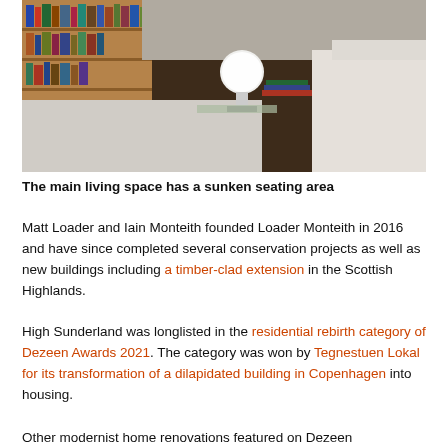[Figure (photo): Interior photo of a modernist living space showing a sunken seating area with white boucle chairs, a globe lamp on a side table, dark wood flooring, and floor-to-ceiling wooden bookshelves filled with books.]
The main living space has a sunken seating area
Matt Loader and Iain Monteith founded Loader Monteith in 2016 and have since completed several conservation projects as well as new buildings including a timber-clad extension in the Scottish Highlands.
High Sunderland was longlisted in the residential rebirth category of Dezeen Awards 2021. The category was won by Tegnestuen Lokal for its transformation of a dilapidated building in Copenhagen into housing.
Other modernist home renovations featured on Dezeen